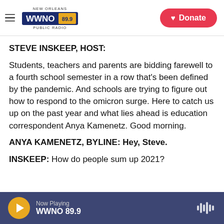WWNO 89.9 New Orleans Public Radio — Donate
STEVE INSKEEP, HOST:
Students, teachers and parents are bidding farewell to a fourth school semester in a row that's been defined by the pandemic. And schools are trying to figure out how to respond to the omicron surge. Here to catch us up on the past year and what lies ahead is education correspondent Anya Kamenetz. Good morning.
ANYA KAMENETZ, BYLINE: Hey, Steve.
INSKEEP: How do people sum up 2021?
Now Playing WWNO 89.9